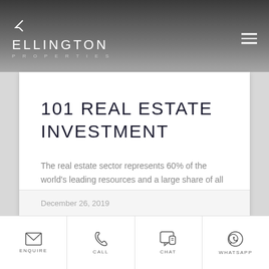[Figure (logo): Ellington Properties logo — angular chevron icon above the text ELLINGTON PROPERTIES in white letters on a dark gradient header]
101 REAL ESTATE INVESTMENT
The real estate sector represents 60% of the world's leading resources and a large share of all national, corporate, and personal assets. In this regard,
READ MORE »
December 26, 2019
[Figure (infographic): Bottom navigation bar with four action icons: envelope icon (ENQUIRE), phone icon (CALL), chat bubble icon (CHAT), WhatsApp icon (WHATSAPP)]